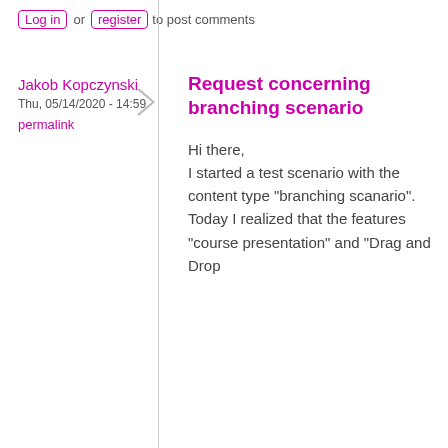Log in or register to post comments
Jakob Kopczynski
Thu, 05/14/2020 - 14:59
permalink
Request concerning branching scenario
Hi there, I started a test scenario with the content type "branching scanario". Today I realized that the features "course presentation" and "Drag and Drop